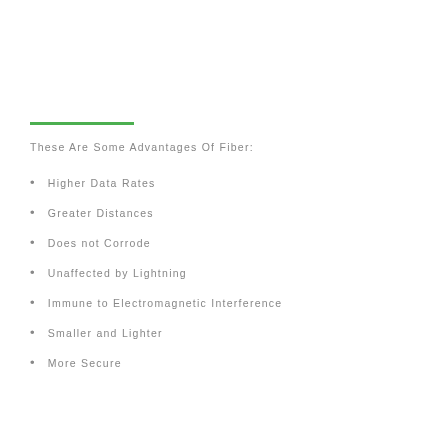These Are Some Advantages Of Fiber:
Higher Data Rates
Greater Distances
Does not Corrode
Unaffected by Lightning
Immune to Electromagnetic Interference
Smaller and Lighter
More Secure